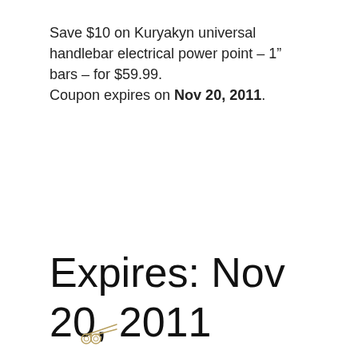Save $10 on Kuryakyn universal handlebar electrical power point – 1" bars – for $59.99.
Coupon expires on Nov 20, 2011.
Expires: Nov 20, 2011
[Figure (illustration): Scissors icon (cut coupon symbol)]